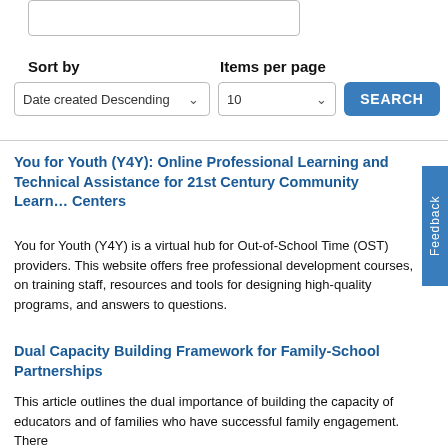Sort by
Items per page
Date created Descending
10
SEARCH
You for Youth (Y4Y): Online Professional Learning and Technical Assistance for 21st Century Community Learning Centers
You for Youth (Y4Y) is a virtual hub for Out-of-School Time (OST) providers. This website offers free professional development courses, on training staff, resources and tools for designing high-quality programs, and answers to questions.
Dual Capacity Building Framework for Family-School Partnerships
This article outlines the dual importance of building the capacity of educators and of families who have successful family engagement. There